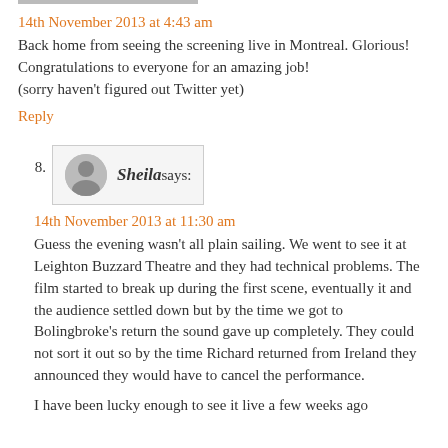14th November 2013 at 4:43 am
Back home from seeing the screening live in Montreal. Glorious! Congratulations to everyone for an amazing job!
(sorry haven't figured out Twitter yet)
Reply
8. Sheila says:
14th November 2013 at 11:30 am
Guess the evening wasn't all plain sailing. We went to see it at Leighton Buzzard Theatre and they had technical problems. The film started to break up during the first scene, eventually it and the audience settled down but by the time we got to Bolingbroke's return the sound gave up completely. They could not sort it out so by the time Richard returned from Ireland they announced they would have to cancel the performance.
I have been lucky enough to see it live a few weeks ago